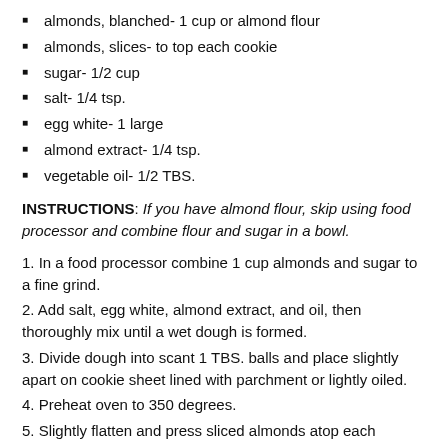almonds, blanched- 1 cup or almond flour
almonds, slices- to top each cookie
sugar- 1/2 cup
salt- 1/4 tsp.
egg white- 1 large
almond extract- 1/4 tsp.
vegetable oil- 1/2 TBS.
INSTRUCTIONS: If you have almond flour, skip using food processor and combine flour and sugar in a bowl.
1. In a food processor combine 1 cup almonds and sugar to a fine grind.
2. Add salt, egg white, almond extract, and oil, then thoroughly mix until a wet dough is formed.
3. Divide dough into scant 1 TBS. balls and place slightly apart on cookie sheet lined with parchment or lightly oiled.
4. Preheat oven to 350 degrees.
5. Slightly flatten and press sliced almonds atop each